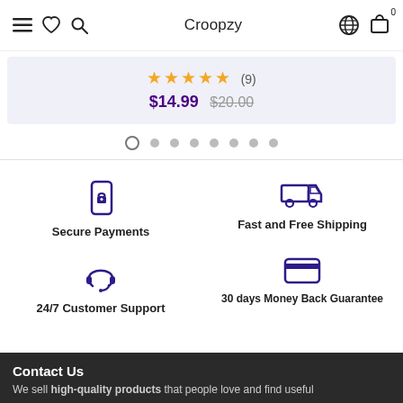Croopzy
★★★★★ (9) $14.99 $20.00
[Figure (other): Carousel pagination dots, 8 dots with first dot outlined/active]
Secure Payments
Fast and Free Shipping
24/7 Customer Support
30 days Money Back Guarantee
Contact Us
We sell high-quality products that people love and find useful